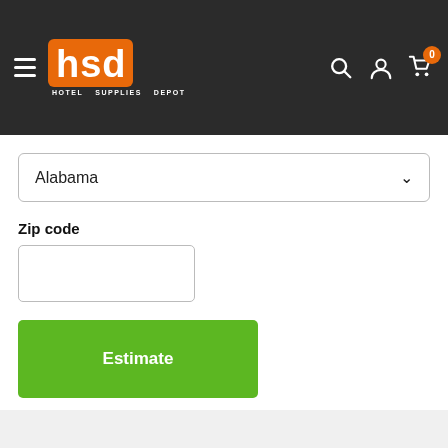[Figure (logo): Hotel Supplies Depot (HSD) logo with orange background and white letters, on dark header bar with hamburger menu, search, account, and cart icons]
Alabama
Zip code
Estimate
Refund Policy